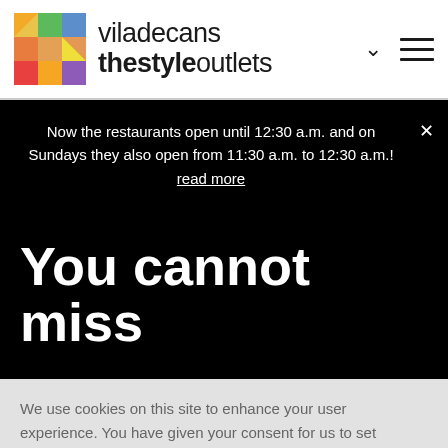viladecans thestyleoutlets
Now the restaurants open until 12:30 a.m. and on Sundays they also open from 11:30 a.m. to 12:30 a.m.! read more
You cannot miss
We use cookies on this site to enhance your user experience. You have given your consent for us to set cookies. More info
OK, I AGREE